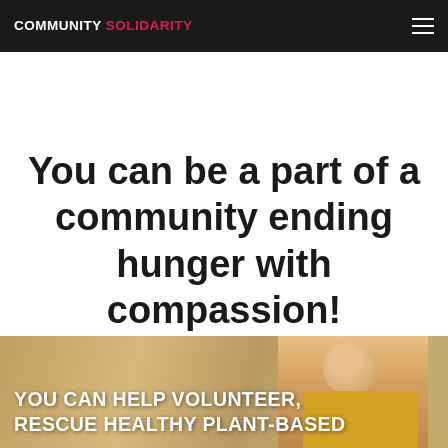COMMUNITY SOLIDARITY
You can be a part of a community ending hunger with compassion!
[Figure (photo): Photo of a smiling man in a yellow shirt with overlaid text about volunteering, with a warm indoor background]
YOU CAN HELP VOLUNTEER, RESCUE HEALTHY PLANT-BASED